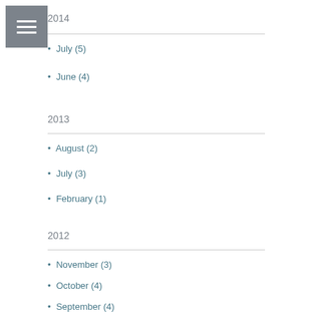2014
July (5)
June (4)
2013
August (2)
July (3)
February (1)
2012
November (3)
October (4)
September (4)
July (6)